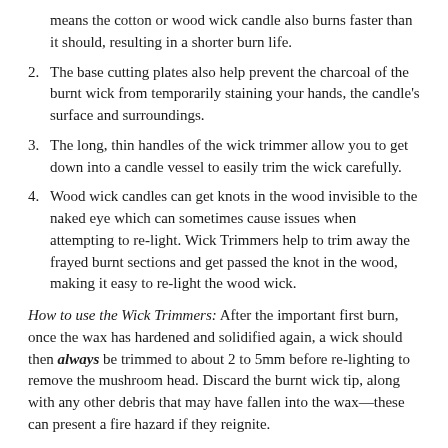means the cotton or wood wick candle also burns faster than it should, resulting in a shorter burn life.
2. The base cutting plates also help prevent the charcoal of the burnt wick from temporarily staining your hands, the candle's surface and surroundings.
3. The long, thin handles of the wick trimmer allow you to get down into a candle vessel to easily trim the wick carefully.
4. Wood wick candles can get knots in the wood invisible to the naked eye which can sometimes cause issues when attempting to re-light. Wick Trimmers help to trim away the frayed burnt sections and get passed the knot in the wood, making it easy to re-light the wood wick.
How to use the Wick Trimmers: After the important first burn, once the wax has hardened and solidified again, a wick should then always be trimmed to about 2 to 5mm before re-lighting to remove the mushroom head. Discard the burnt wick tip, along with any other debris that may have fallen into the wax—these can present a fire hazard if they reignite.